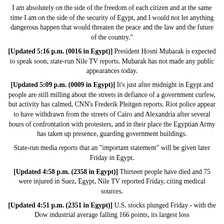I am absolutely on the side of the freedom of each citizen and at the same time I am on the side of the security of Egypt, and I would not let anything dangerous happen that would threaten the peace and the law and the future of the country."
[Updated 5:16 p.m. (0016 in Egypt)] President Hosni Mubarak is expected to speak soon, state-run Nile TV reports. Mubarak has not made any public appearances today.
[Updated 5:09 p.m. (0009 in Egypt)] It's just after midnight in Egypt and people are still milling about the streets in defiance of a government curfew, but activity has calmed, CNN's Frederik Pleitgen reports. Riot police appear to have withdrawn from the streets of Cairo and Alexandria after several hours of confrontation with protesters, and in their place the Egyptian Army has taken up presence, guarding government buildings.
State-run media reports that an "important statement" will be given later Friday in Egypt.
[Updated 4:58 p.m. (2358 in Egypt)] Thirteen people have died and 75 were injured in Suez, Egypt, Nile TV reported Friday, citing medical sources.
[Updated 4:51 p.m. (2351 in Egypt)] U.S. stocks plunged Friday - with the Dow industrial average falling 166 points, its largest loss